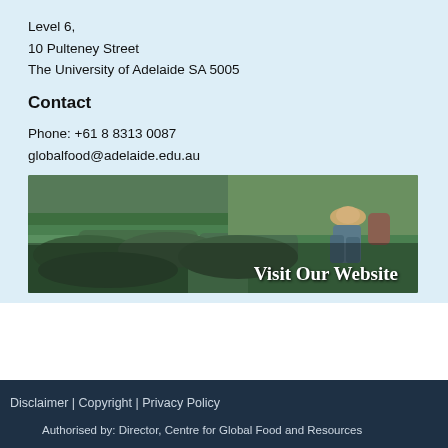Level 6,
10 Pulteney Street
The University of Adelaide SA 5005
Contact
Phone: +61 8 8313 0087
globalfood@adelaide.edu.au
[Figure (photo): Photo of a tea plantation with a worker harvesting, overlaid with text 'Visit Our Website']
Disclaimer | Copyright | Privacy Policy
Authorised by: Director, Centre for Global Food and Resources